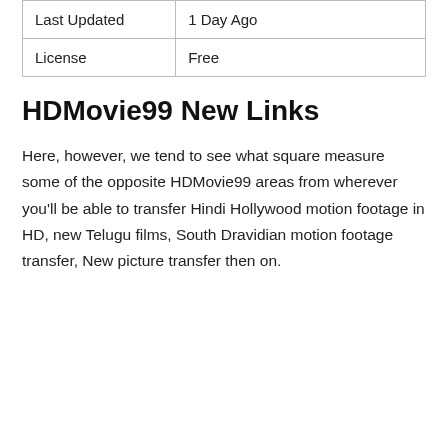| Last Updated | 1 Day Ago |
| License | Free |
HDMovie99 New Links
Here, however, we tend to see what square measure some of the opposite HDMovie99 areas from wherever you'll be able to transfer Hindi Hollywood motion footage in HD, new Telugu films, South Dravidian motion footage transfer, New picture transfer then on.